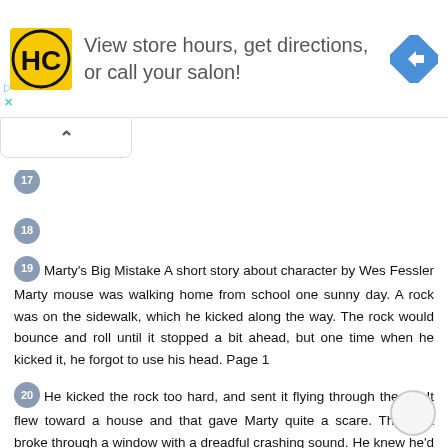[Figure (other): Advertisement banner for Hair Club (HC logo) with text 'View store hours, get directions, or call your salon!' and a navigation diamond icon on the right. Play and close (X) icons on the left edge.]
17
18
19  Marty's Big Mistake A short story about character by Wes Fessler Marty mouse was walking home from school one sunny day. A rock was on the sidewalk, which he kicked along the way. The rock would bounce and roll until it stopped a bit ahead, but one time when he kicked it, he forgot to use his head. Page 1
20  He kicked the rock too hard, and sent it flying through the air. It flew toward a house and that gave Marty quite a scare. The rock broke through a window with a dreadful crashing sound. He knew he'd be in trouble if somebody